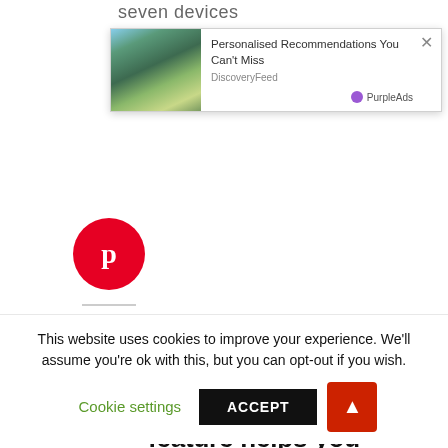seven devices
[Figure (screenshot): Advertisement popup overlay showing a mountain landscape image on the left, with text 'Personalised Recommendations You Can't Miss' and source 'DiscoveryFeed', branded with PurpleAds logo, and an X close button.]
[Figure (illustration): Red circular Pinterest social share button with white 'p' icon]
[Figure (illustration): Yellow circular comment/chat button with white speech bubble and dots icon]
A standard Teen Driver feature helps you monitor your household's youngest drivers
This website uses cookies to improve your experience. We'll assume you're ok with this, but you can opt-out if you wish.
Cookie settings
ACCEPT